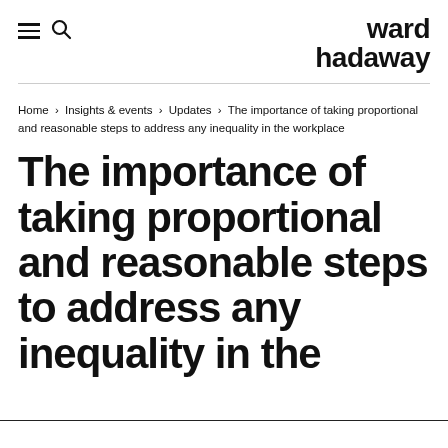ward hadaway
Home › Insights & events › Updates › The importance of taking proportional and reasonable steps to address any inequality in the workplace
The importance of taking proportional and reasonable steps to address any inequality in the